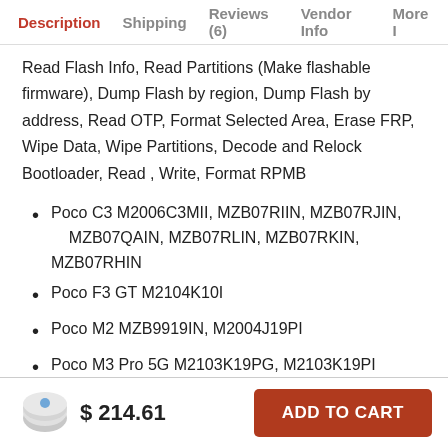Description  Shipping  Reviews (6)  Vendor Info  More I
Read Flash Info, Read Partitions (Make flashable firmware), Dump Flash by region, Dump Flash by address, Read OTP, Format Selected Area, Erase FRP, Wipe Data, Wipe Partitions, Decode and Relock Bootloader, Read , Write, Format RPMB
Poco C3 M2006C3MII, MZB07RIIN, MZB07RJIN, MZB07QAIN, MZB07RLIN, MZB07RKIN, MZB07RHIN
Poco F3 GT M2104K10I
Poco M2 MZB9919IN, M2004J19PI
Poco M3 Pro 5G M2103K19PG, M2103K19PI
$ 214.61  ADD TO CART